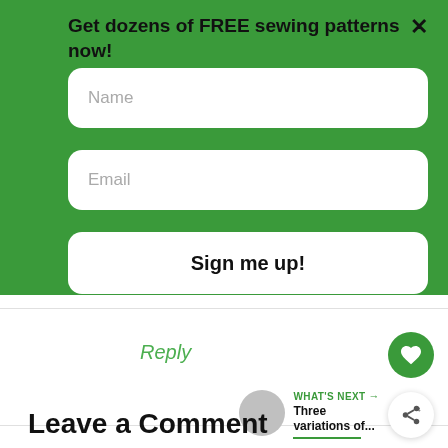Get dozens of FREE sewing patterns now!
[Figure (screenshot): Name input field placeholder]
[Figure (screenshot): Email input field placeholder]
[Figure (screenshot): Sign me up! button]
Reply
[Figure (illustration): Heart icon button (green circle)]
[Figure (illustration): Share icon button (white circle)]
WHAT'S NEXT → Three variations of...
Leave a Comment